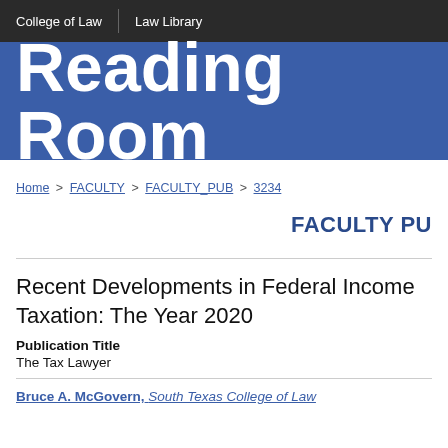College of Law | Law Library
Reading Room
Home > FACULTY > FACULTY_PUB > 3234
FACULTY PU
Recent Developments in Federal Income Taxation: The Year 2020
Publication Title
The Tax Lawyer
Bruce A. McGovern, South Texas College of Law